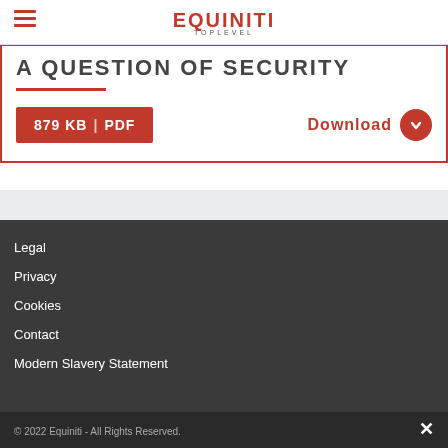EQUINITI TOPLEVEL
A QUESTION OF SECURITY
879 KB | PDF
Download
Legal
Privacy
Cookies
Contact
Modern Slavery Statement
© 2022 Equiniti - All Rights Reserved.